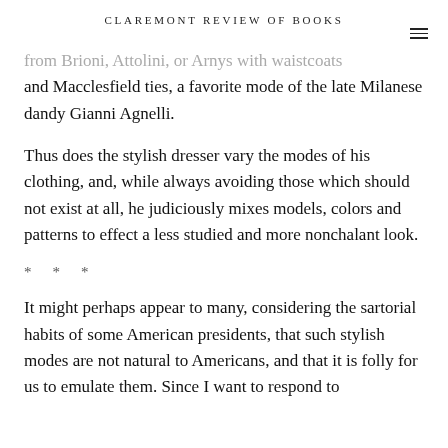CLAREMONT REVIEW OF BOOKS
…from Brioni, Attolini, or Arnys with waistcoats and Macclesfield ties, a favorite mode of the late Milanese dandy Gianni Agnelli.
Thus does the stylish dresser vary the modes of his clothing, and, while always avoiding those which should not exist at all, he judiciously mixes models, colors and patterns to effect a less studied and more nonchalant look.
* * *
It might perhaps appear to many, considering the sartorial habits of some American presidents, that such stylish modes are not natural to Americans, and that it is folly for us to emulate them. Since I want to respond to